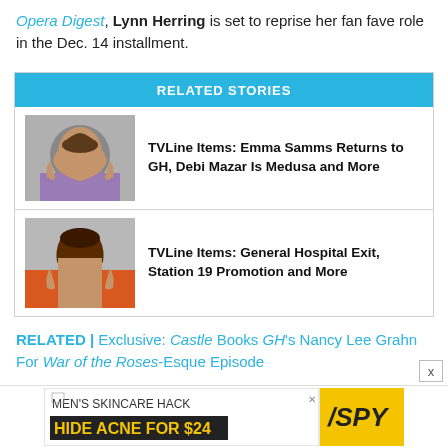Opera Digest, Lynn Herring is set to reprise her fan fave role in the Dec. 14 installment.
RELATED STORIES
[Figure (photo): Photo of a woman with curly dark hair wearing a purple top]
TVLine Items: Emma Samms Returns to GH, Debi Mazar Is Medusa and More
[Figure (photo): Photo of a woman with dark hair wearing an orange top]
TVLine Items: General Hospital Exit, Station 19 Promotion and More
RELATED | Exclusive: Castle Books GH's Nancy Lee Grahn For War of the Roses-Esque Episode
[Figure (screenshot): Advertisement: MEN'S SKINCARE HACK HIDE ACNE FOR $24 with SPY logo]